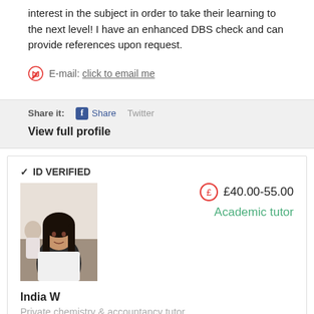interest in the subject in order to take their learning to the next level! I have an enhanced DBS check and can provide references upon request.
E-mail: click to email me
Share it:  Share  Twitter
View full profile
✓ ID VERIFIED
£40.00-55.00
Academic tutor
[Figure (photo): Profile photo of India W, a young woman with long dark hair]
India W
Private chemistry & accountancy tutor
I am a north London based Southampton University